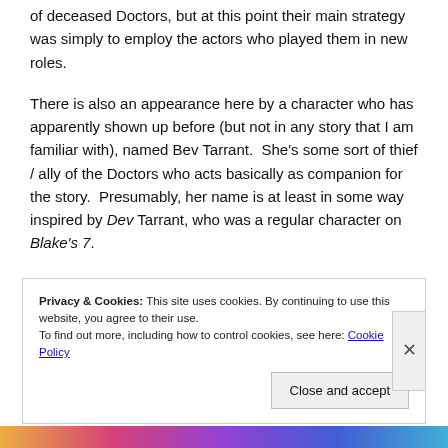of deceased Doctors, but at this point their main strategy was simply to employ the actors who played them in new roles.
There is also an appearance here by a character who has apparently shown up before (but not in any story that I am familiar with), named Bev Tarrant.  She's some sort of thief / ally of the Doctors who acts basically as companion for the story.  Presumably, her name is at least in some way inspired by Dev Tarrant, who was a regular character on Blake's 7.
Privacy & Cookies: This site uses cookies. By continuing to use this website, you agree to their use.
To find out more, including how to control cookies, see here: Cookie Policy
Close and accept